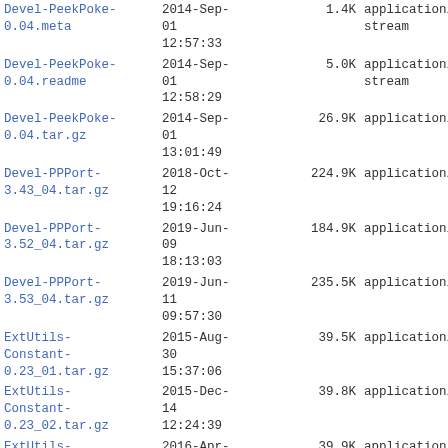| Name | Date | Size | Type |
| --- | --- | --- | --- |
| Devel-PeekPoke-0.04.meta | 2014-Sep-01 12:57:33 | 1.4K | application/octet-stream |
| Devel-PeekPoke-0.04.readme | 2014-Sep-01 12:58:29 | 5.0K | application/octet-stream |
| Devel-PeekPoke-0.04.tar.gz | 2014-Sep-01 13:01:49 | 26.9K | application/gzip |
| Devel-PPPort-3.43_04.tar.gz | 2018-Oct-12 19:16:24 | 224.9K | application/gzip |
| Devel-PPPort-3.52_04.tar.gz | 2019-Jun-09 18:13:03 | 184.9K | application/gzip |
| Devel-PPPort-3.53_04.tar.gz | 2019-Jun-11 09:57:30 | 235.5K | application/gzip |
| ExtUtils-Constant-0.23_01.tar.gz | 2015-Aug-30 15:37:06 | 39.5K | application/gzip |
| ExtUtils-Constant-0.23_02.tar.gz | 2015-Dec-14 12:24:39 | 39.8K | application/gzip |
| ExtUtils-Constant-0.23_03.tar.gz | 2016-Apr-15 23:13:01 | 39.9K | application/gzip |
| ExtUtils-Constant-0.23_04.tar.gz | 2017-Apr-23 17:53:48 | 41.3K | application/gzip |
| ExtUtils-Constant-0.23_05.tar.gz | 2017-Apr-23 23:01:03 | 41.3K | application/gzip |